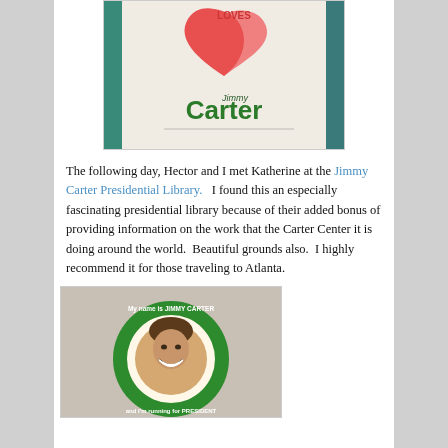[Figure (photo): A white t-shirt or bag with heart graphics and 'LOVES' text at top, and 'Jimmy Carter' printed in green lettering below.]
The following day, Hector and I met Katherine at the Jimmy Carter Presidential Library.  I found this an especially fascinating presidential library because of their added bonus of providing information on the work that the Carter Center it is doing around the world.  Beautiful grounds also.  I highly recommend it for those traveling to Atlanta.
[Figure (photo): A green circular campaign button reading 'My name is Jimmy Carter and I'm running for President' with a portrait photo of Jimmy Carter smiling in the center.]